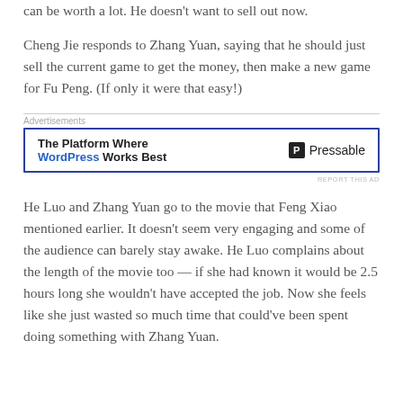can be worth a lot. He doesn't want to sell out now.
Cheng Jie responds to Zhang Yuan, saying that he should just sell the current game to get the money, then make a new game for Fu Peng. (If only it were that easy!)
[Figure (other): Advertisement banner for Pressable: 'The Platform Where WordPress Works Best' with Pressable logo]
He Luo and Zhang Yuan go to the movie that Feng Xiao mentioned earlier. It doesn't seem very engaging and some of the audience can barely stay awake. He Luo complains about the length of the movie too — if she had known it would be 2.5 hours long she wouldn't have accepted the job. Now she feels like she just wasted so much time that could've been spent doing something with Zhang Yuan.